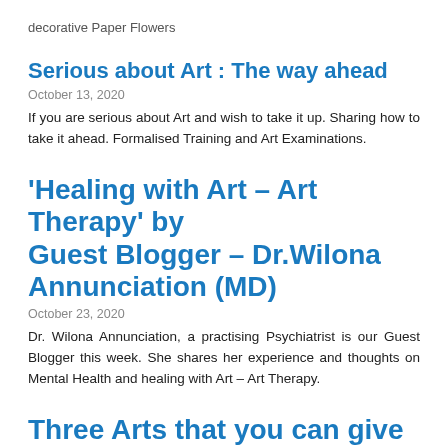decorative Paper Flowers
Serious about Art : The way ahead
October 13, 2020
If you are serious about Art and wish to take it up. Sharing how to take it ahead. Formalised Training and Art Examinations.
'Healing with Art – Art Therapy' by Guest Blogger – Dr.Wilona Annunciation (MD)
October 23, 2020
Dr. Wilona Annunciation, a practising Psychiatrist is our Guest Blogger this week. She shares her experience and thoughts on Mental Health and healing with Art – Art Therapy.
Three Arts that you can give a try –